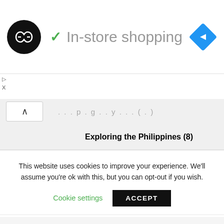[Figure (logo): Black circle logo with double arrow symbol, green checkmark, 'In-store shopping' text in grey, blue diamond navigation icon]
▷
X
... p...g...y... (...)
Exploring the Philippines (8)
This website uses cookies to improve your experience. We'll assume you're ok with this, but you can opt-out if you wish.
Cookie settings   ACCEPT
Walking (1)
Walking in The Yorkshire Dales (1)
Walking on The Centenary Way (19)
Walking on the Cleveland Coast (2)